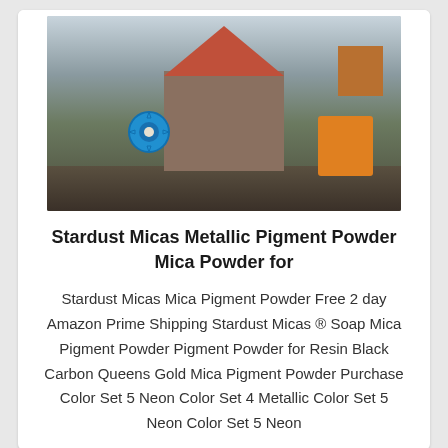[Figure (photo): Industrial construction site with large machinery, a hopper/conveyor structure with red top, concrete pillars, a blue gear/wheel icon overlaid on the left, orange equipment on the right, and a brown shed in the background. Ground is dark soil/rubble.]
Stardust Micas Metallic Pigment Powder Mica Powder for
Stardust Micas Mica Pigment Powder Free 2 day Amazon Prime Shipping Stardust Micas ® Soap Mica Pigment Powder Pigment Powder for Resin Black Carbon Queens Gold Mica Pigment Powder Purchase Color Set 5 Neon Color Set 4 Metallic Color Set 5 Neon Color Set 5 Neon
[Figure (photo): Partial view of a second photo at the bottom, appears gray/overcast, possibly another industrial or outdoor scene.]